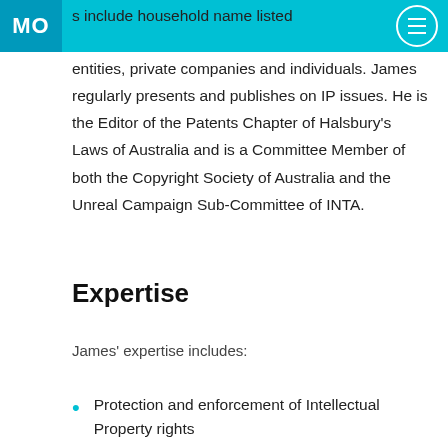MO [logo with hamburger menu]
s include household name listed entities, private companies and individuals. James regularly presents and publishes on IP issues. He is the Editor of the Patents Chapter of Halsbury's Laws of Australia and is a Committee Member of both the Copyright Society of Australia and the Unreal Campaign Sub-Committee of INTA.
Expertise
James' expertise includes:
Protection and enforcement of Intellectual Property rights